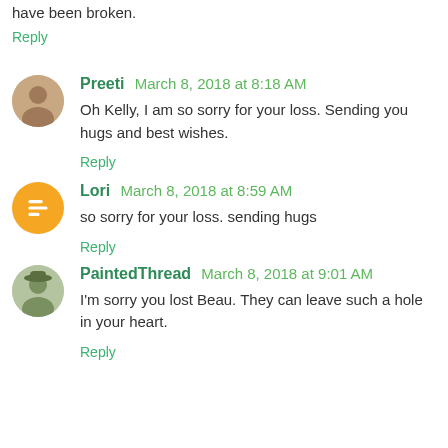have been broken.
Reply
Preeti March 8, 2018 at 8:18 AM
Oh Kelly, I am so sorry for your loss. Sending you hugs and best wishes.
Reply
Lori March 8, 2018 at 8:59 AM
so sorry for your loss. sending hugs
Reply
PaintedThread March 8, 2018 at 9:01 AM
I'm sorry you lost Beau. They can leave such a hole in your heart.
Reply